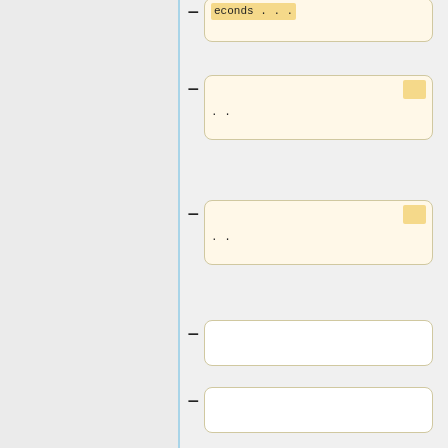econds . . .
. .
. .
[userx@login4] $ bmod -W 46:00 229309
        # resets wall-clock time to 46 hrs for job 229309
</pre>